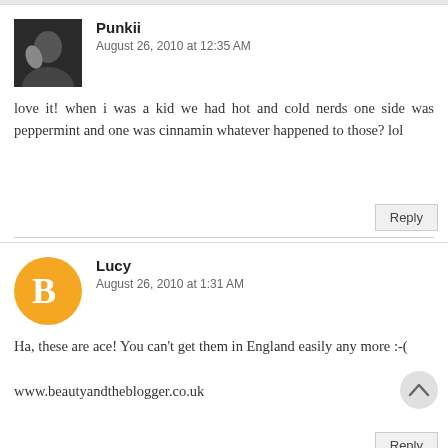Punkii
August 26, 2010 at 12:35 AM
love it! when i was a kid we had hot and cold nerds one side was peppermint and one was cinnamin whatever happened to those? lol
Reply
Lucy
August 26, 2010 at 1:31 AM
Ha, these are ace! You can't get them in England easily any more :-(

www.beautyandtheblogger.co.uk
Reply